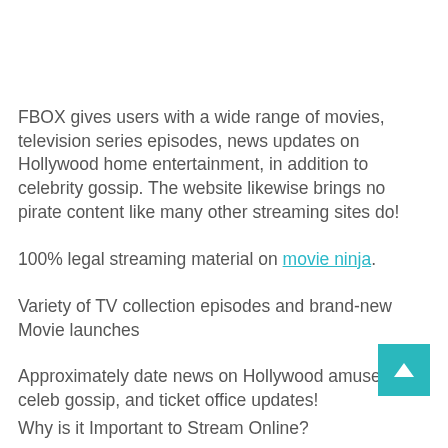FBOX gives users with a wide range of movies, television series episodes, news updates on Hollywood home entertainment, in addition to celebrity gossip. The website likewise brings no pirate content like many other streaming sites do!
100% legal streaming material on movie ninja.
Variety of TV collection episodes and brand-new Movie launches
Approximately date news on Hollywood amusement, celeb gossip, and ticket office updates!
Why is it Important to Stream Online?